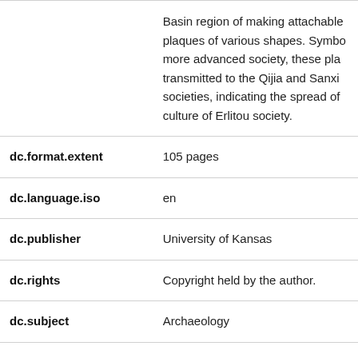| Field | Value |
| --- | --- |
|  | Basin region of making attachable plaques of various shapes. Symbo more advanced society, these pla transmitted to the Qijia and Sanxi societies, indicating the spread of culture of Erlitou society. |
| dc.format.extent | 105 pages |
| dc.language.iso | en |
| dc.publisher | University of Kansas |
| dc.rights | Copyright held by the author. |
| dc.subject | Archaeology |
| dc.subject | Erlitou Culture |
| dc.subject | Origin and Transmission |
| dc.subject | Turquoise-inlaid Bronze Plaques |
| dc.title | Turquoise-Inlaid Bronze Plaques f |